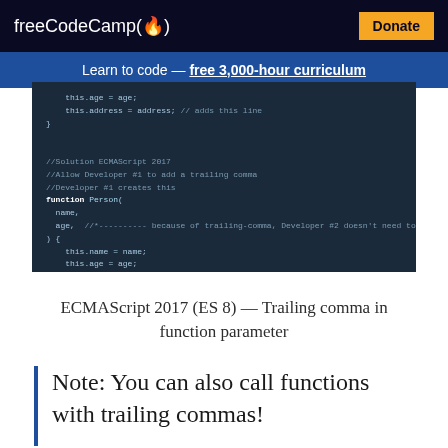freeCodeCamp(🔥)   Donate
Learn to code — free 3,000-hour curriculum
[Figure (screenshot): Dark-themed code editor showing JavaScript code with trailing commas example, including 'this.age = age;', 'this.address = address; // adds this line', and a function Person with name, age parameters and trailing comma comment]
ECMAScript 2017 (ES 8) — Trailing comma in function parameter
Note: You can also call functions with trailing commas!